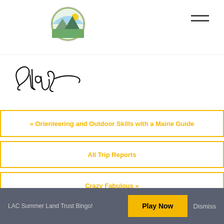[Figure (logo): Circular logo with mountain and sun scene]
[Figure (illustration): Handwritten signature reading 'Gillian']
« Orienteering and Outdoor Skills with a Maine Guide
All Trip Reports
Crazy Fabulous »
LAC Summer Land Trust Bingo!  Play Now  Dismiss